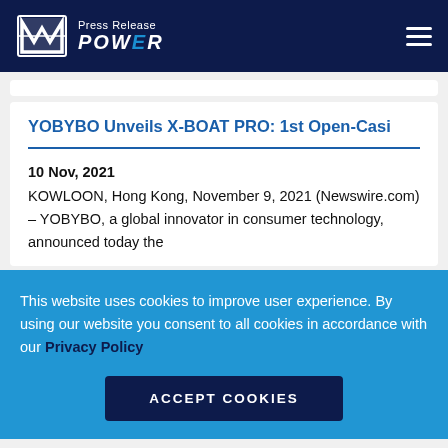Press Release POWER
YOBYBO Unveils X-BOAT PRO: 1st Open-Casi
10 Nov, 2021
KOWLOON, Hong Kong, November 9, 2021 (Newswire.com) – YOBYBO, a global innovator in consumer technology, announced today the
This website uses cookies to improve user experience. By using our website you consent to all cookies in accordance with our Privacy Policy
ACCEPT COOKIES
10 Nov, 2021